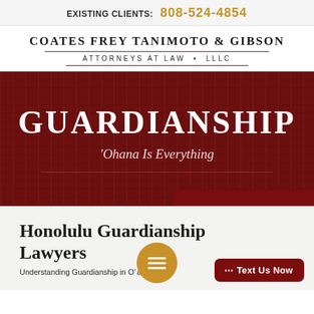EXISTING CLIENTS: 808-524-4854
COATES FREY TANIMOTO & GIBSON
ATTORNEYS AT LAW • LLLC
[Figure (other): Dark red wood-grain hero banner with large white text 'GUARDIANSHIP' and italic subtitle ''Ohana Is Everything' with a horizontal divider line]
Honolulu Guardianship Lawyers
Understanding Guardianship in Oʻahu...